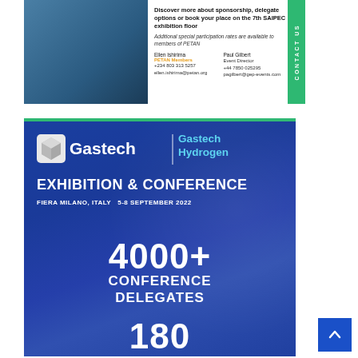[Figure (infographic): SAIPEC contact card with blue photo background on left, white content area with 'Discover more about sponsorship, delegate options or book your place on the 7th SAIPEC exhibition floor' heading, additional PETAN member rates note, two contact persons listed (Ellen Ishirima and Paul Gilbert), and green vertical CONTACT US sidebar]
[Figure (infographic): Gastech | Gastech Hydrogen Exhibition & Conference promotional banner. Dark blue background with Gastech logo and branding. Text: EXHIBITION & CONFERENCE, FIERA MILANO, ITALY 5-8 SEPTEMBER 2022, 4000+ CONFERENCE DELEGATES, 180]